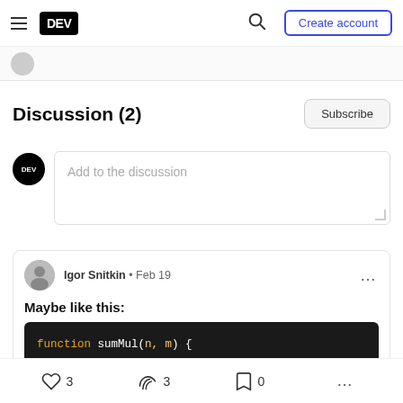DEV — Create account
Discussion (2)
Add to the discussion
Igor Snitkin · Feb 19
Maybe like this:
function sumMul(n, m) {